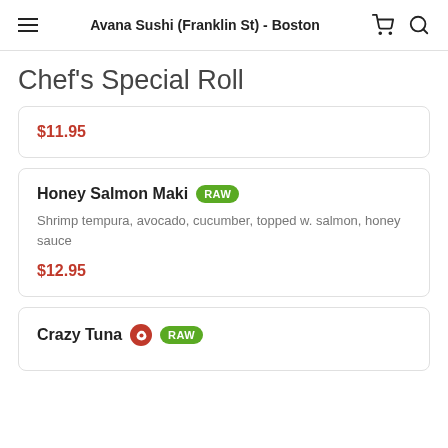Avana Sushi (Franklin St) - Boston
Chef's Special Roll
$11.95
Honey Salmon Maki RAW — Shrimp tempura, avocado, cucumber, topped w. salmon, honey sauce — $12.95
Crazy Tuna [spicy][RAW]